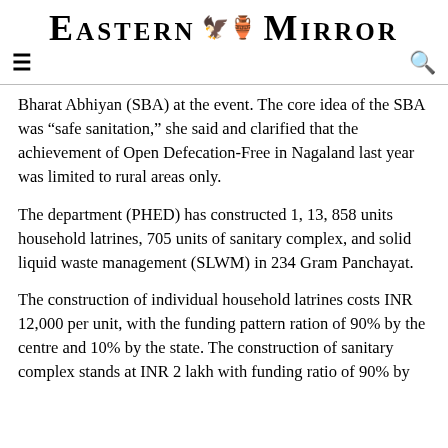Eastern Mirror
Bharat Abhiyan (SBA) at the event. The core idea of the SBA was “safe sanitation,” she said and clarified that the achievement of Open Defecation-Free in Nagaland last year was limited to rural areas only.
The department (PHED) has constructed 1, 13, 858 units household latrines, 705 units of sanitary complex, and solid liquid waste management (SLWM) in 234 Gram Panchayat.
The construction of individual household latrines costs INR 12,000 per unit, with the funding pattern ration of 90% by the centre and 10% by the state. The construction of sanitary complex stands at INR 2 lakh with funding ratio of 90% by the centre and 10% by the state.